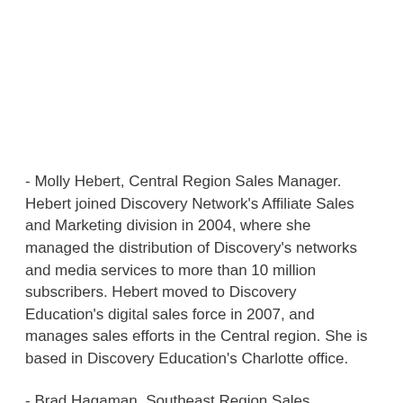- Molly Hebert, Central Region Sales Manager. Hebert joined Discovery Network's Affiliate Sales and Marketing division in 2004, where she managed the distribution of Discovery's networks and media services to more than 10 million subscribers. Hebert moved to Discovery Education's digital sales force in 2007, and manages sales efforts in the Central region. She is based in Discovery Education's Charlotte office.
- Brad Hagaman, Southeast Region Sales Manager. Hagaman joined Discovery Education last...